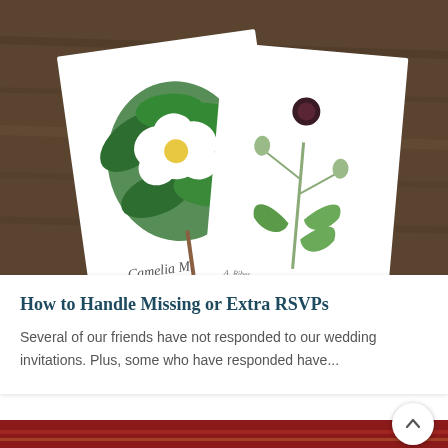[Figure (photo): Two botanical illustration cards (one showing a white camellia flower with green leaves labeled 'Camelia M.' and another showing a white flower with dark center and jagged leaves) placed on a dark wood surface]
How to Handle Missing or Extra RSVPs
Several of our friends have not responded to our wedding invitations. Plus, some who have responded have...
[Figure (photo): Partially visible photo of a dark red/maroon surface, likely a table or bar, with warm ambient lighting visible at bottom]